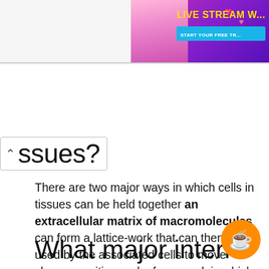[Figure (photo): Advertisement banner in top-right corner showing a woman with a live stream promotion. Purple/pink gradient background with 'LIVE STREAM W...' text in yellow and 'START YOUR FREE TR...' subtext in white.]
...issues?
There are two major ways in which cells in tissues can be held together an extracellular matrix of macromolecules can form a lattice-work that can then be used by the associated cells to move change position and a framework in which cells can interact with one another and cell junctions can create firm direct ...
What major interna...